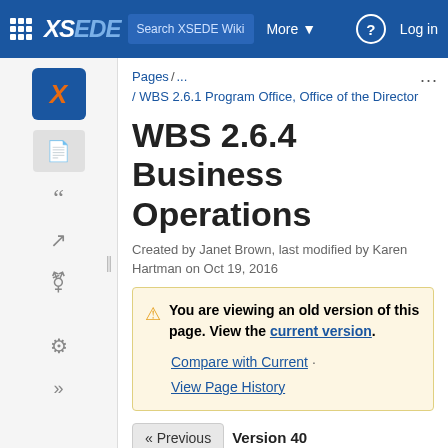XSEDE Wiki | Search XSEDE Wiki | More | Log in
Pages / ... / WBS 2.6.1 Program Office, Office of the Director
WBS 2.6.4 Business Operations
Created by Janet Brown, last modified by Karen Hartman on Oct 19, 2016
You are viewing an old version of this page. View the current version. Compare with Current · View Page History
« Previous  Version 40  Next »